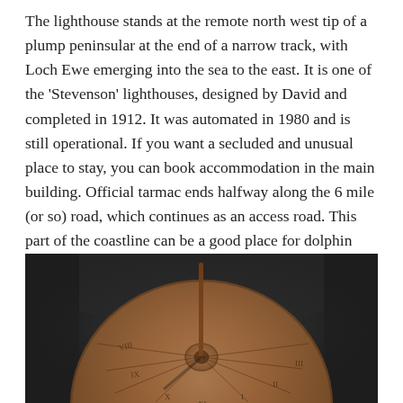The lighthouse stands at the remote north west tip of a plump peninsular at the end of a narrow track, with Loch Ewe emerging into the sea to the east. It is one of the 'Stevenson' lighthouses, designed by David and completed in 1912. It was automated in 1980 and is still operational. If you want a secluded and unusual place to stay, you can book accommodation in the main building. Official tarmac ends halfway along the 6 mile (or so) road, which continues as an access road. This part of the coastline can be a good place for dolphin and whale watching – if you are lucky, a Minke.
[Figure (photo): Close-up photograph of a circular bronze or copper sundial or compass instrument with a vertical gnomon/rod casting a shadow, set against a dark background.]